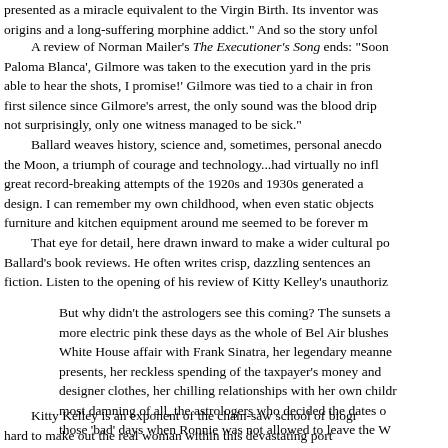presented as a miracle equivalent to the Virgin Birth. Its inventor was origins and a long-suffering morphine addict.' And so the story unfol
A review of Norman Mailer's The Executioner's Song ends: 'Soon Paloma Blanca', Gilmore was taken to the execution yard in the pris able to hear the shots, I promise!' Gilmore was tied to a chair in fron first silence since Gilmore's arrest, the only sound was the blood dri not surprisingly, only one witness managed to be sick.'
Ballard weaves history, science and, sometimes, personal anecdo the Moon, a triumph of courage and technology...had virtually no infl great record-breaking attempts of the 1920s and 1930s generated a design. I can remember my own childhood, when even static objects furniture and kitchen equipment around me seemed to be forever m
That eye for detail, here drawn inward to make a wider cultural po Ballard's book reviews. He often writes crisp, dazzling sentences an fiction. Listen to the opening of his review of Kitty Kelley's unauthoriz
But why didn't the astrologers see this coming? The sunsets a more electric pink these days as the whole of Bel Air blushes White House affair with Frank Sinatra, her legendary meanne presents, her reckless spending of the taxpayer's money and designer clothes, her chilling relationships with her own childr most damning of all, the astrologers who decided the dates o those 'bad' days when Ronnie was not allowed to leave the W
Kitty Kelley is an exponent of the chain-saw school of biogr hard to make out the real woman within this devastating port